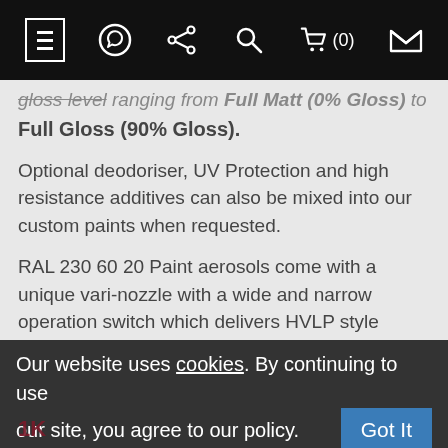[Navigation bar with hamburger menu, WhatsApp icon, share icon, search icon, cart (0), and envelope icon]
gloss level ranging from Full Matt (0% Gloss) to Full Gloss (90% Gloss).
Optional deodoriser, UV Protection and high resistance additives can also be mixed into our custom paints when requested.
RAL 230 60 20 Paint aerosols come with a unique vari-nozzle with a wide and narrow operation switch which delivers HVLP style Atomisation, minimal overspray and constant pressure.
Please note 2K paints are only avilabe as Acrylic Enamel.
1K [partially obscured]
Our website uses cookies. By continuing to use our site, you agree to our policy. Got It